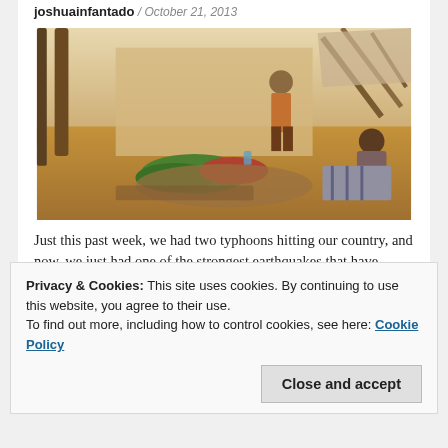joshuainfantado / October 21, 2013
[Figure (photo): People lying on the ground outdoors in a dusty, impoverished area with a wall and makeshift shelter in the background. A standing person and a seated child are also visible.]
Just this past week, we had two typhoons hitting our country, and now, we just had one of the strongest earthquakes that have rocked our nation. On October 15, 2013, at exactly 8:12 am
Privacy & Cookies: This site uses cookies. By continuing to use this website, you agree to their use.
To find out more, including how to control cookies, see here: Cookie Policy
Close and accept